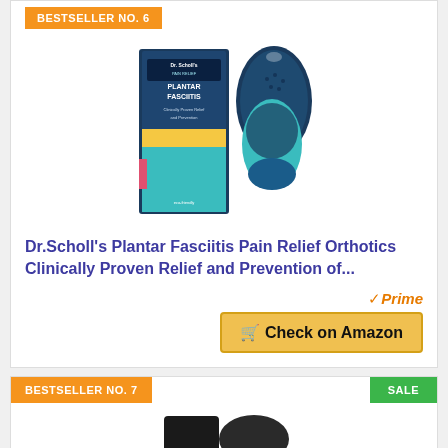BESTSELLER NO. 6
[Figure (photo): Dr. Scholl's Plantar Fasciitis orthotics product photo showing box packaging and insole]
Dr.Scholl's Plantar Fasciitis Pain Relief Orthotics Clinically Proven Relief and Prevention of...
✓Prime
🛒 Check on Amazon
BESTSELLER NO. 7
SALE